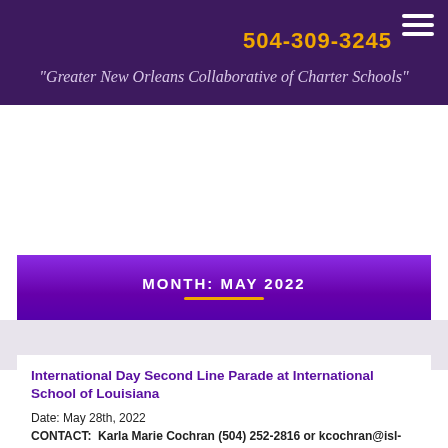504-309-3245
"Greater New Orleans Collaborative of Charter Schools"
MONTH: MAY 2022
International Day Second Line Parade at International School of Louisiana
Date: May 28th, 2022
CONTACT:  Karla Marie Cochran (504) 252-2816 or kcochran@isl-